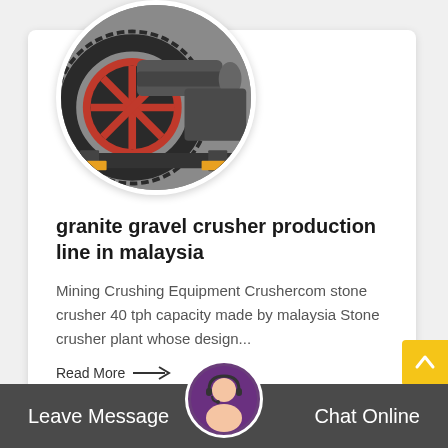[Figure (photo): Circular cropped photo of a large industrial ball mill / grinding machine with red gear ring, gray metal body, in a factory setting]
granite gravel crusher production line in malaysia
Mining Crushing Equipment Crushercom stone crusher 40 tph capacity made by malaysia Stone crusher plant whose design...
Read More →
Leave Message   Chat Online